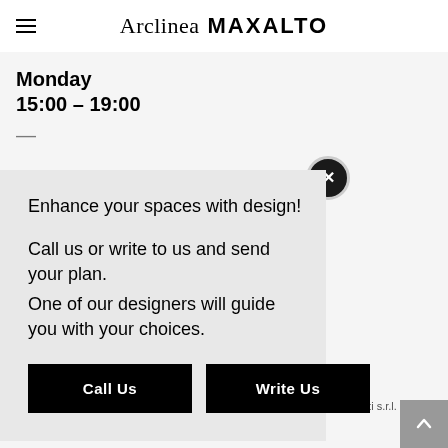Arclinea MAXALTO
Monday
15:00 – 19:00
Enhance your spaces with design!

Call us or write to us and send your plan.
One of our designers will guide you with your choices.
enti s.r.l. – P. IVA